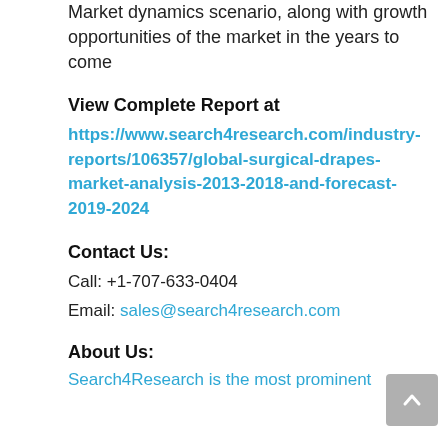Market dynamics scenario, along with growth opportunities of the market in the years to come
View Complete Report at
https://www.search4research.com/industry-reports/106357/global-surgical-drapes-market-analysis-2013-2018-and-forecast-2019-2024
Contact Us:
Call: +1-707-633-0404
Email: sales@search4research.com
About Us:
Search4Research is the most prominent...